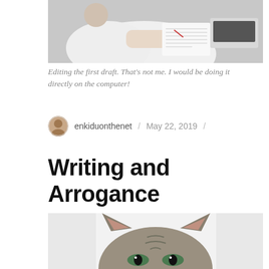[Figure (photo): Person in white shirt editing a printed document draft at a desk with what appears to be a laptop or keyboard in the background]
Editing the first draft. That's not me. I would be doing it directly on the computer!
enkiduonthenet / May 22, 2019 /
Writing and Arrogance
[Figure (photo): Close-up photo of a tabby cat with green eyes peering just above the bottom of the frame, white background]